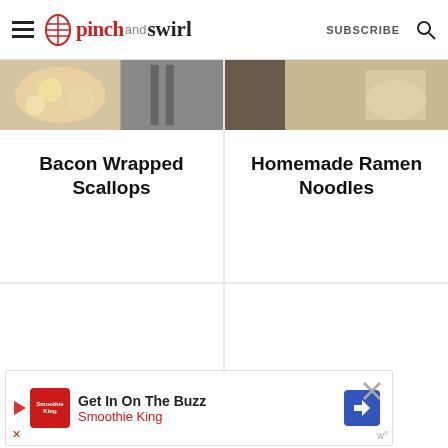pinch and swirl — SUBSCRIBE
[Figure (screenshot): Food photo of Bacon Wrapped Scallops]
Bacon Wrapped Scallops
[Figure (screenshot): Food photo of Homemade Ramen Noodles]
Homemade Ramen Noodles
[Figure (other): Advertisement banner: Get In On The Buzz — Smoothie King]